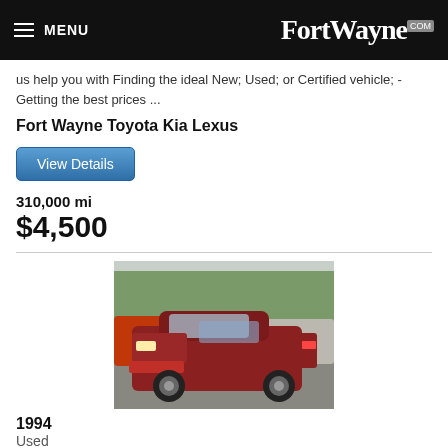MENU  FortWayne.com
This ... us help you with Finding the ideal New; Used; or Certified vehicle; - Getting the best prices ...
Fort Wayne Toyota Kia Lexus
View Details
310,000 mi
$4,500
[Figure (photo): Red 1994 sedan (likely Honda Accord) in a dealership parking lot, front 3/4 view, with other vehicles visible in background]
1994
Used